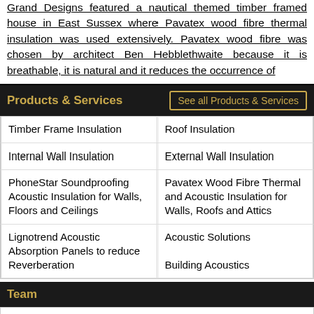Grand Designs featured a nautical themed timber framed house in East Sussex where Pavatex wood fibre thermal insulation was used extensively. Pavatex wood fibre was chosen by architect Ben Hebblethwaite because it is breathable, it is natural and it reduces the occurrence of
Products & Services
| Timber Frame Insulation | Roof Insulation |
| Internal Wall Insulation | External Wall Insulation |
| PhoneStar Soundproofing Acoustic Insulation for Walls, Floors and Ceilings | Pavatex Wood Fibre Thermal and Acoustic Insulation for Walls, Roofs and Attics |
| Lignotrend Acoustic Absorption Panels to reduce Reverberation | Acoustic Solutions
Building Acoustics |
Team
Paul Ibbotson
MD